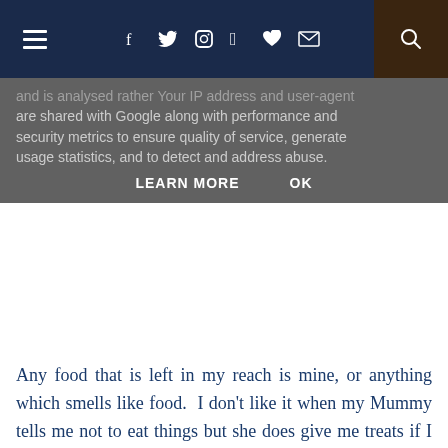Navigation bar with hamburger menu, social icons (Facebook, Twitter, Instagram, Pinterest, heart, email), and search
and is analysed rather Your IP address and user-agent are shared with Google along with performance and security metrics to ensure quality of service, generate usage statistics, and to detect and address abuse.
LEARN MORE   OK
Any food that is left in my reach is mine, or anything which smells like food.  I don't like it when my Mummy tells me not to eat things but she does give me treats if I am a good girl
[Figure (photo): Close-up photo of a grey/blue spotted dog (likely a Great Dane or Weimaraner) wearing a dark red/maroon harness, seen from above looking down, with a light sky background]